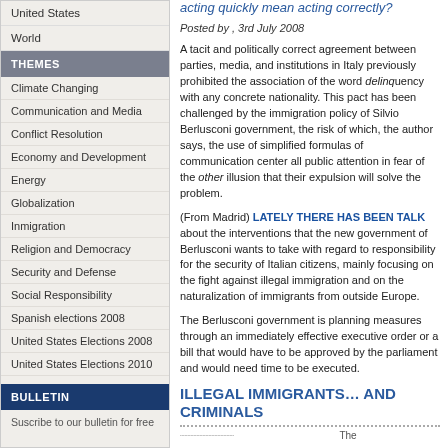United States
World
THEMES
Climate Changing
Communication and Media
Conflict Resolution
Economy and Development
Energy
Globalization
Inmigration
Religion and Democracy
Security and Defense
Social Responsibility
Spanish elections 2008
United States Elections 2008
United States Elections 2010
BULLETIN
Suscribe to our bulletin for free
acting quickly mean acting correctly?
Posted by , 3rd July 2008
A tacit and politically correct agreement between parties, media, and institutions in Italy previously prohibited the association of the word delinquency with any concrete nationality. This pact has been challenged by the immigration policy of Silvio Berlusconi government, the risk of which, the author says, is the use of simplified formulas of communication that center all public attention in fear of the other and the illusion that their expulsion will solve the problem.
(From Madrid) LATELY THERE HAS BEEN A LOT OF TALK about the interventions that the new government of Berlusconi wants to take with regard to responsibility for the security of Italian citizens, mainly focusing on the fight against illegal immigration and on the naturalization of immigrants from outside Europe.
The Berlusconi government is planning measures through an immediately effective executive order or a bill that would have to be approved by the parliament and would need time to be executed.
ILLEGAL IMMIGRANTS… AND CRIMINALS
The